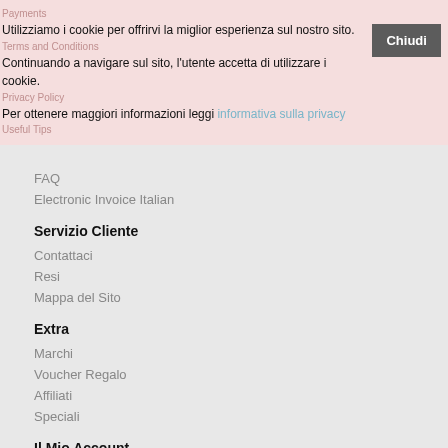Payments
Terms and Conditions
Privacy Policy
Useful Tips
Utilizziamo i cookie per offrirvi la miglior esperienza sul nostro sito. Continuando a navigare sul sito, l'utente accetta di utilizzare i cookie. Per ottenere maggiori informazioni leggi informativa sulla privacy
Chiudi
FAQ
Electronic Invoice Italian
Servizio Cliente
Contattaci
Resi
Mappa del Sito
Extra
Marchi
Voucher Regalo
Affiliati
Speciali
Il Mio Account
Il Mio Account
Storia Ordine
Lista dei Desideri
Newsletter